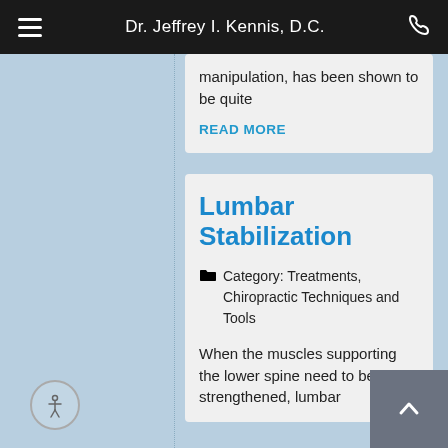Dr. Jeffrey I. Kennis, D.C.
manipulation, has been shown to be quite
READ MORE
Lumbar Stabilization
Category: Treatments, Chiropractic Techniques and Tools
When the muscles supporting the lower spine need to be strengthened, lumbar